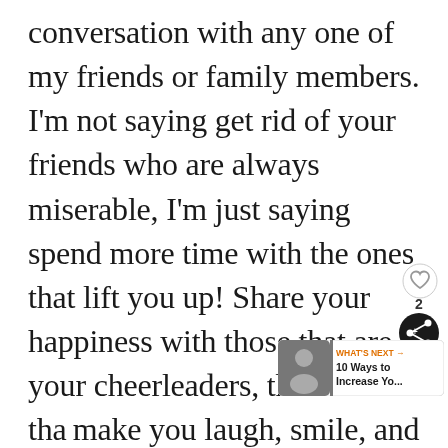conversation with any one of my friends or family members. I'm not saying get rid of your friends who are always miserable, I'm just saying spend more time with the ones that lift you up! Share your happiness with those that are your cheerleaders, the ones that make you laugh, smile, and help you be the best version of yourself! Happiness changes our attitude and our energy! I also
[Figure (screenshot): UI overlay showing a heart/like button, a share button with count '2', and a 'What's Next' card showing '10 Ways to Increase Yo...']